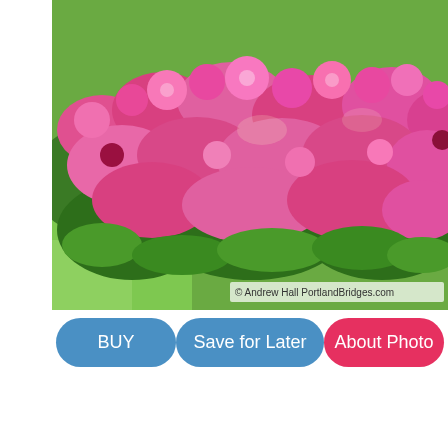[Figure (photo): A garden bed of pink roses in full bloom with green foliage and grass in the background. Watermark reads: © Andrew Hall PortlandBridges.com]
BUY
Save for Later
About Photo